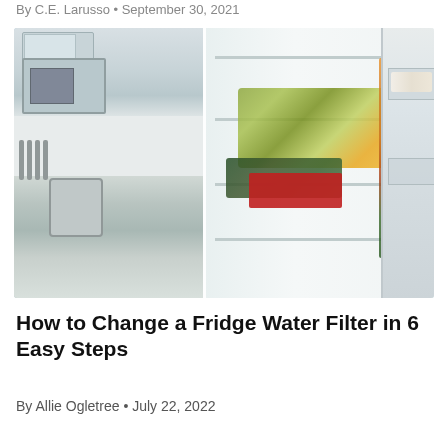By C.E. Larusso • September 30, 2021
[Figure (photo): Open refrigerator showing shelves stocked with fruits, vegetables, juices, and condiments, with a kitchen visible on the left side.]
How to Change a Fridge Water Filter in 6 Easy Steps
By Allie Ogletree • July 22, 2022